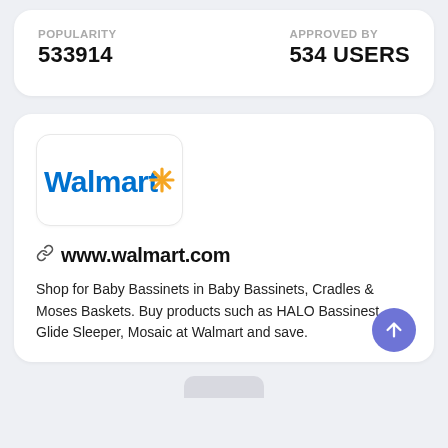POPULARITY
533914
APPROVED BY
534 USERS
[Figure (logo): Walmart logo with spark/asterisk icon in blue text and yellow asterisk]
www.walmart.com
Shop for Baby Bassinets in Baby Bassinets, Cradles & Moses Baskets. Buy products such as HALO Bassinest Glide Sleeper, Mosaic at Walmart and save.